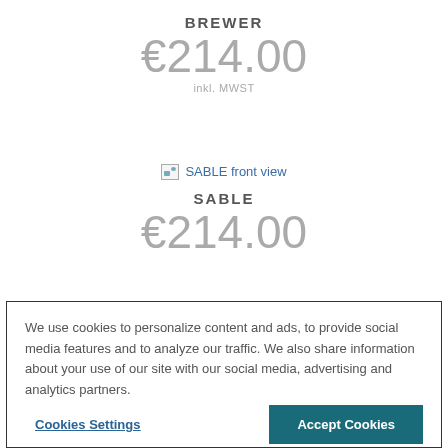BREWER
€214.00
inkl. MWST
[Figure (other): Broken image placeholder for SABLE front view]
SABLE
€214.00
We use cookies to personalize content and ads, to provide social media features and to analyze our traffic. We also share information about your use of our site with our social media, advertising and analytics partners.
Cookies Settings
Accept Cookies